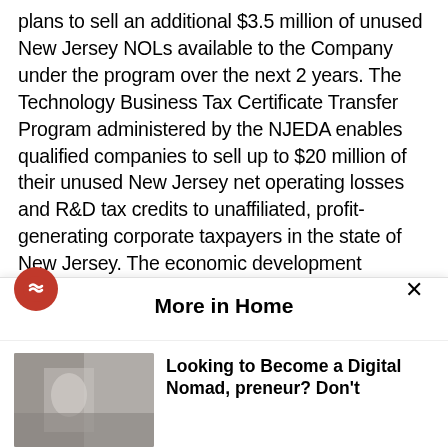plans to sell an additional $3.5 million of unused New Jersey NOLs available to the Company under the program over the next 2 years. The Technology Business Tax Certificate Transfer Program administered by the NJEDA enables qualified companies to sell up to $20 million of their unused New Jersey net operating losses and R&D tax credits to unaffiliated, profit-generating corporate taxpayers in the state of New Jersey. The economic development program is designed to allow technology and biotechnology companies with NOLs to turn their tax losses and credits into cash.
More in Home
Looking to Become a Digital Nomad, preneur? Don't